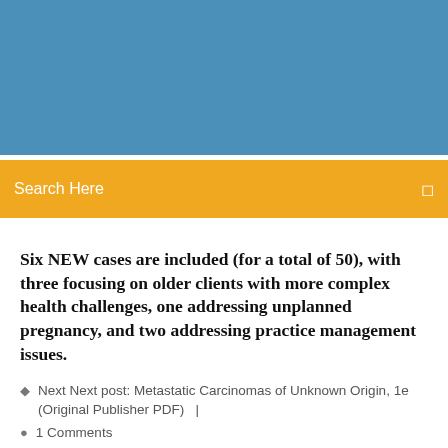[Figure (other): Blue header banner background]
Search Here
Six NEW cases are included (for a total of 50), with three focusing on older clients with more complex health challenges, one addressing unplanned pregnancy, and two addressing practice management issues.
Next Next post: Metastatic Carcinomas of Unknown Origin, 1e (Original Publisher PDF)  |
1 Comments